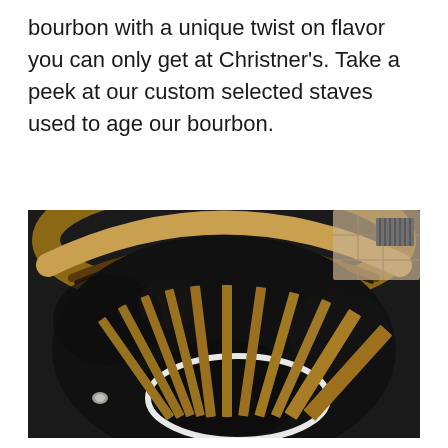bourbon with a unique twist on flavor you can only get at Christner's. Take a peek at our custom selected staves used to age our bourbon.
[Figure (photo): Overhead view inside a bourbon barrel showing charred interior walls and wooden staves arranged in a fan/arc pattern, held by a metal hoop ring, photographed from above.]